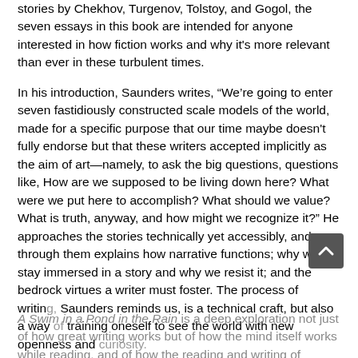stories by Chekhov, Turgenov, Tolstoy, and Gogol, the seven essays in this book are intended for anyone interested in how fiction works and why it's more relevant than ever in these turbulent times.
In his introduction, Saunders writes, “We’re going to enter seven fastidiously constructed scale models of the world, made for a specific purpose that our time maybe doesn't fully endorse but that these writers accepted implicitly as the aim of art—namely, to ask the big questions, questions like, How are we supposed to be living down here? What were we put here to accomplish? What should we value? What is truth, anyway, and how might we recognize it?” He approaches the stories technically yet accessibly, and through them explains how narrative functions; why we stay immersed in a story and why we resist it; and the bedrock virtues a writer must foster. The process of writing, Saunders reminds us, is a technical craft, but also a way of training oneself to see the world with new openness and curiosity.
A Swim in a Pond in the Rain is a deep exploration not just of how great writing works but of how the mind itself works while reading, and of how the reading and writing of stories make genuine